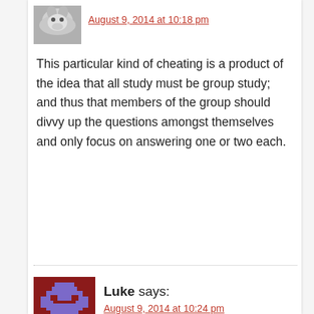August 9, 2014 at 10:18 pm
This particular kind of cheating is a product of the idea that all study must be group study; and thus that members of the group should divvy up the questions amongst themselves and only focus on answering one or two each.
Luke says:
August 9, 2014 at 10:24 pm
I see plagiarism on a sliding scale.
At one extreme, it's a big deal. (Most of the examples give so far qualify.)
At the other, it's inconsequential.